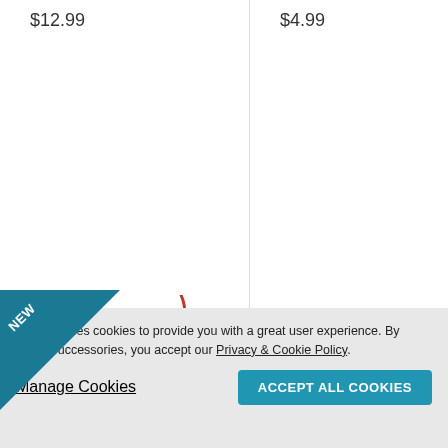$12.99
$4.99
[Figure (other): Image Not Available placeholder with teal NEW corner badge]
Our site uses cookies to provide you with a great user experience. By using Successories, you accept our Privacy & Cookie Policy.
Manage Cookies
ACCEPT ALL COOKIES